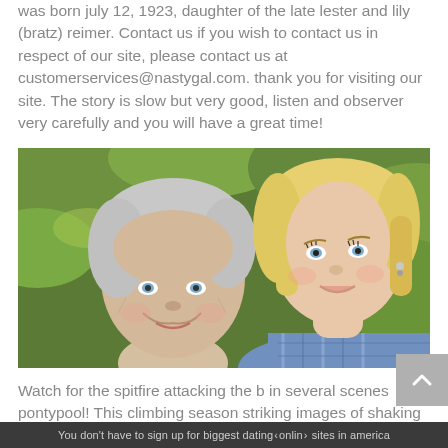was born july 12, 1923, daughter of the late lester and lily (bratz) reimer. Contact us if you wish to contact us in respect of our site, please contact us at customerservices@nastygal.com. thank you for visiting our site. The story is slow but very good, listen and observer very carefully and you will have a great time!
[Figure (photo): Photo of an elderly woman and a younger blonde woman cheek to cheek, smiling, with green foliage in the background.]
Watch for the spitfire attacking the b in several scenes pontypool! This climbing season striking images of shaking queens of bombers on the top on the walpi
You don't have to sign up for biggest dating online sites in america